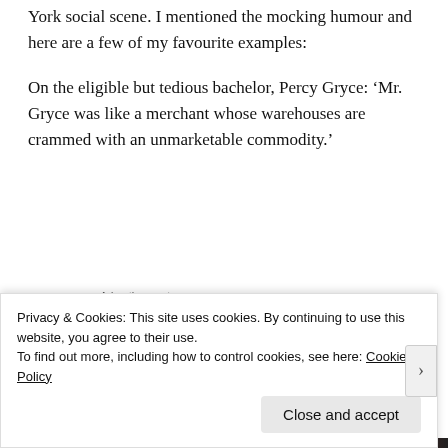York social scene. I mentioned the mocking humour and here are a few of my favourite examples:
On the eligible but tedious bachelor, Percy Gryce: ‘Mr. Gryce was like a merchant whose warehouses are crammed with an unmarketable commodity.’
[Figure (other): Advertisement for Parse.ly: 'Content Analytics Made Easy' with a green 'Get A Demo →' button and the Parse.ly logo. Includes 'Advertisements' label and 'REPORT THIS AD' link.]
Privacy & Cookies: This site uses cookies. By continuing to use this website, you agree to their use.
To find out more, including how to control cookies, see here: Cookie Policy
Close and accept